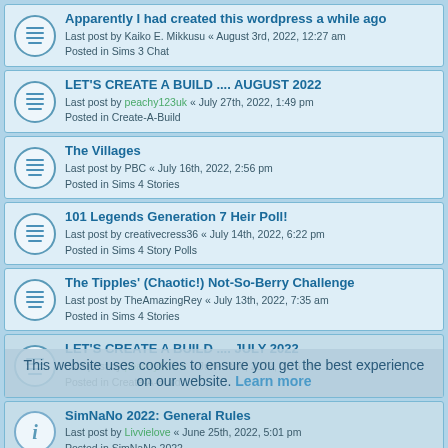Apparently I had created this wordpress a while ago
Last post by Kaiko E. Mikkusu « August 3rd, 2022, 12:27 am
Posted in Sims 3 Chat
LET'S CREATE A BUILD .... AUGUST 2022
Last post by peachy123uk « July 27th, 2022, 1:49 pm
Posted in Create-A-Build
The Villages
Last post by PBC « July 16th, 2022, 2:56 pm
Posted in Sims 4 Stories
101 Legends Generation 7 Heir Poll!
Last post by creativecress36 « July 14th, 2022, 6:22 pm
Posted in Sims 4 Story Polls
The Tipples' (Chaotic!) Not-So-Berry Challenge
Last post by TheAmazingRey « July 13th, 2022, 7:35 am
Posted in Sims 4 Stories
LET'S CREATE A BUILD .... JULY 2022
Last post by peachy123uk « June 28th, 2022, 2:16 am
Posted in Create-A-Build
SimNaNo 2022: General Rules
Last post by Livvielove « June 25th, 2022, 5:01 pm
Posted in SimNaNo 2022
Unlocking The Uberhood Challenge by clouseplayssims
Last post by Boo « June 22nd, 2022, 5:47 pm
Posted in Sims 2 Rulesets
Smith Heir Gen 4 Poll